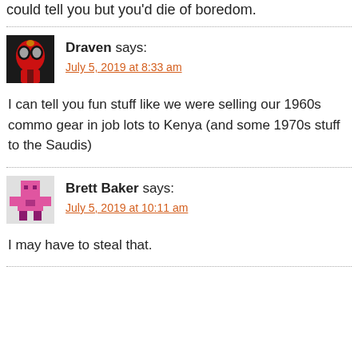could tell you but you'd die of boredom.
Draven says:
July 5, 2019 at 8:33 am
I can tell you fun stuff like we were selling our 1960s commo gear in job lots to Kenya (and some 1970s stuff to the Saudis)
Brett Baker says:
July 5, 2019 at 10:11 am
I may have to steal that.